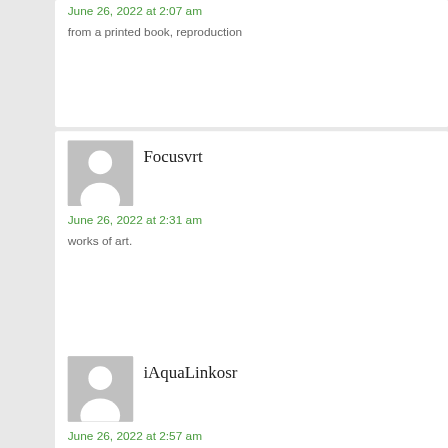June 26, 2022 at 2:07 am
from a printed book, reproduction
[Figure (illustration): Generic user avatar placeholder - grey rectangle with white silhouette of a person]
Focusvrt
June 26, 2022 at 2:31 am
works of art.
[Figure (illustration): Generic user avatar placeholder - grey rectangle with white silhouette of a person]
iAquaLinkosr
June 26, 2022 at 2:57 am